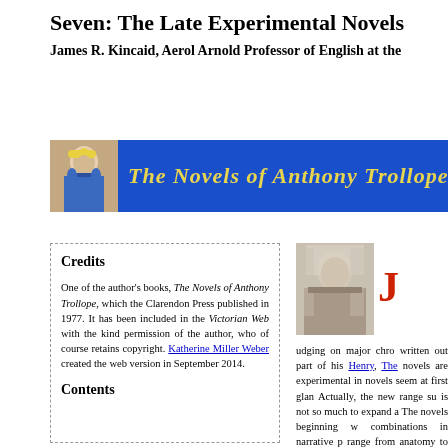Seven: The Late Experimental Novels
James R. Kincaid, Aerol Arnold Professor of English at the
[Figure (illustration): Banner with blue background, portrait of a woman on the left, and italic yellow text reading 'The Novels of Anthony Trollope']
Credits
One of the author's books, The Novels of Anthony Trollope, which the Clarendon Press published in 1977. It has been included in the Victorian Web with the kind permission of the author, who of course retains copyright. Katherine Miller Weber created the web version in September 2014.
Contents
[Figure (illustration): Portrait of a judge or barrister in wig and robes with a large red drop capital J overlaid]
udging on major chro written out part of his Henry, The novels are experimental in novels seem at first glan Actually, the new range su is not so much to expand a The novels beginning w combinations in narrative p range from anatomy to sa from the grotesque and fr then borrowing a techniqu